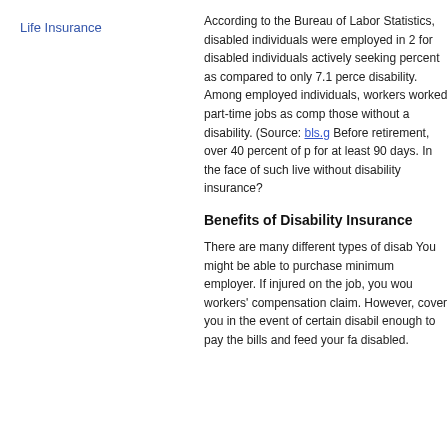Life Insurance
According to the Bureau of Labor Statistics, disabled individuals were employed in 2... for disabled individuals actively seeking... percent as compared to only 7.1 percent... disability. Among employed individuals, workers worked part-time jobs as compared... those without a disability. (Source: bls.g... Before retirement, over 40 percent of pe... for at least 90 days. In the face of such... live without disability insurance?
Benefits of Disability Insurance
There are many different types of disab... You might be able to purchase minimum... employer. If injured on the job, you wou... workers' compensation claim. However... cover you in the event of certain disabi... enough to pay the bills and feed your fa... disabled.